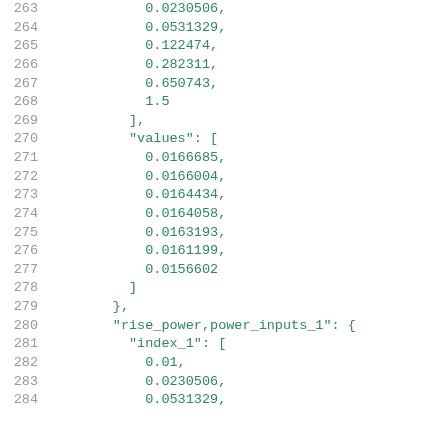263    0.0230506,
264    0.0531329,
265    0.122474,
266    0.282311,
267    0.650743,
268    1.5
269  ],
270  "values": [
271    0.0166685,
272    0.0166004,
273    0.0164434,
274    0.0164058,
275    0.0163193,
276    0.0161199,
277    0.0156602
278  ]
279  },
280  "rise_power,power_inputs_1": {
281    "index_1": [
282      0.01,
283      0.0230506,
284      0.0531329,